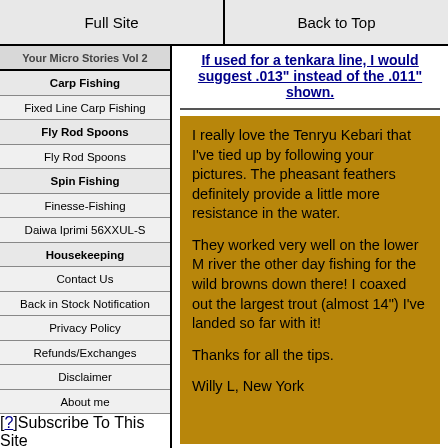Full Site | Back to Top
Your Micro Stories Vol 2
Carp Fishing
Fixed Line Carp Fishing
Fly Rod Spoons
Fly Rod Spoons
Spin Fishing
Finesse-Fishing
Daiwa Iprimi 56XXUL-S
Housekeeping
Contact Us
Back in Stock Notification
Privacy Policy
Refunds/Exchanges
Disclaimer
About me
[?]Subscribe To This Site
If used for a tenkara line, I would suggest .013" instead of the .011" shown.
I really love the Tenryu Kebari that I've tied up by following your pictures. The pheasant feathers definitely provide a little more resistance in the water.

They worked very well on the lower M river the other day fishing for the wild browns down there! I coaxed out the largest trout (almost 14") I've landed so far with it!

Thanks for all the tips.

Willy L, New York